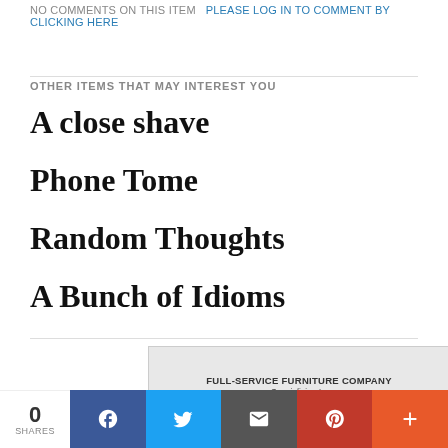NO COMMENTS ON THIS ITEM   PLEASE LOG IN TO COMMENT BY CLICKING HERE
OTHER ITEMS THAT MAY INTEREST YOU
A close shave
Phone Tome
Random Thoughts
A Bunch of Idioms
[Figure (other): Advertisement banner for a full-service furniture company specializing in reupholstery, restoration, and on-site repairs]
0 SHARES
[Figure (other): Social share bar with Facebook, Twitter, Email, Pinterest, and More buttons]